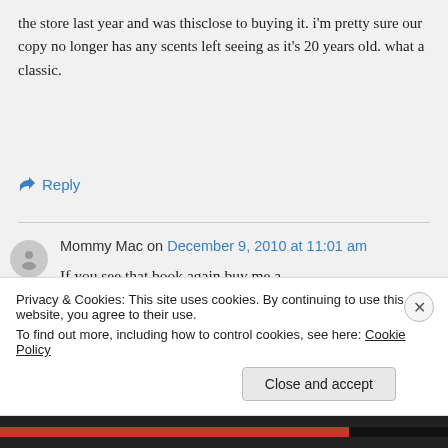the store last year and was thisclose to buying it. i'm pretty sure our copy no longer has any scents left seeing as it's 20 years old. what a classic.
↪ Reply
Mommy Mac on December 9, 2010 at 11:01 am
If you see that book again buy me a
Privacy & Cookies: This site uses cookies. By continuing to use this website, you agree to their use.
To find out more, including how to control cookies, see here: Cookie Policy
Close and accept